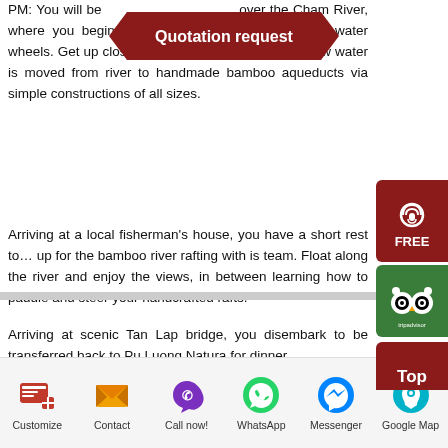PM: You will be… over the Cham River, where you begin your walk in search of stunning water wheels. Get up close to each wheel and discover how water is moved from river to handmade bamboo aqueducts via simple constructions of all sizes.
[Figure (other): Quotation request banner (dark red speech-bubble/chevron shape)]
[Figure (other): Free call button (dark red rounded button with phone icon and FREE text)]
[Figure (other): TripAdvisor widget button (green rounded button with owl face icon and tripadvisor text)]
Arriving at a local fisherman's house, you have a short rest to… up for the bamboo river rafting with is team. Float along the river and enjoy the views, in between learning how to paddle and steer your handcrafted rafts.
Arriving at scenic Tan Lap bridge, you disembark to be transferred back to Pu Luong Natura for dinner.
[Figure (other): Top button (dark red rounded button with 'Top' text)]
Customize | Contact | Call now! | WhatsApp | Messenger | Google Map